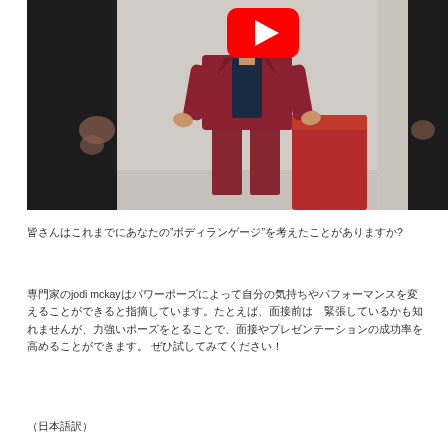[Figure (screenshot): YouTube video thumbnail showing a person in a dark red/burgundy suit standing and gesturing, in front of a white wall with a red chair visible to the right. Dark borders on left and right. YouTube play button (red with white triangle) visible at top center.]
皆さんはこれまでにあなたの"ボディランゲージ"を考えたことがありますか?
専門家のjodi mckayはパワーポーズによって自分の気持ちやパフォーマンスを変えることができると指摘しています。たとえば、面接前は　緊張しているかも知れませんが、力強いポーズをとることで、面接やプレゼンテーションの成功率を高めることができます。 ぜひ試してみてください！
（日本語訳）